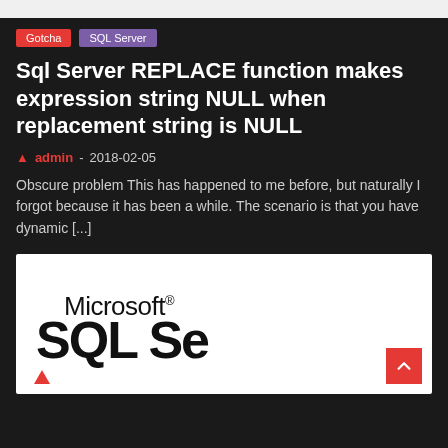Gotcha
SQL Server
Sql Server REPLACE function makes expression string NULL when replacement string is NULL
admin - 2018-02-05
Obscure problem This has happened to me before, but naturally I forgot because it has been a while. The scenario is that you have dynamic [...]
[Figure (logo): Microsoft SQL Server logo on white background, showing 'Microsoft®' text and large 'SQL Se' text (partially visible), with a red triangle at bottom left]